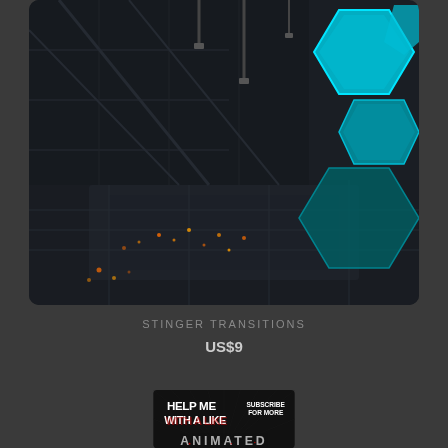[Figure (photo): Sci-fi dark futuristic environment with glowing blue hexagonal shapes on the right side and metallic platform structure with small orange lights in the background]
STINGER TRANSITIONS
US$9
[Figure (photo): Dark card with text 'HELP ME WITH A LIKE' in large blocky white letters on the left and 'SUBSCRIBE FOR MORE' on the right, with 'ANIMATED' partially visible at the bottom]